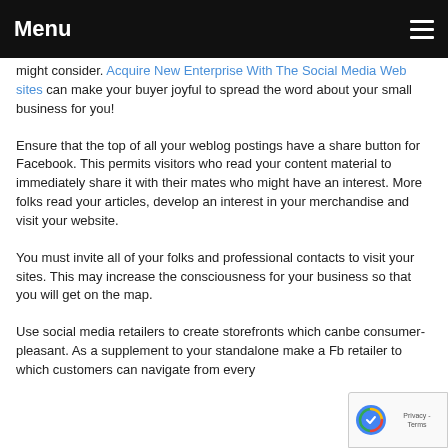Menu
might consider. Acquire New Enterprise With The Social Media Web sites can make your buyer joyful to spread the word about your small business for you!
Ensure that the top of all your weblog postings have a share button for Facebook. This permits visitors who read your content material to immediately share it with their mates who might have an interest. More folks read your articles, develop an interest in your merchandise and visit your website.
You must invite all of your folks and professional contacts to visit your sites. This may increase the consciousness for your business so that you will get on the map.
Use social media retailers to create storefronts which ca... consumer-pleasant. As a supplement to your standalone... make a Fb retailer to which customers can navigate from every